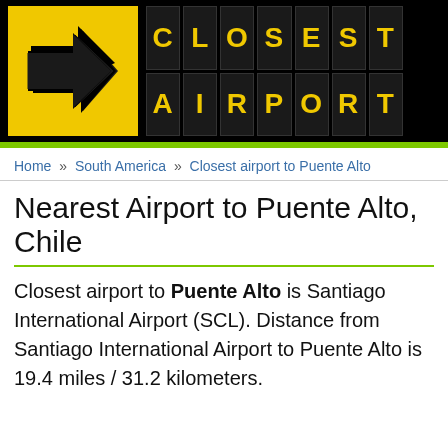[Figure (logo): Closest Airport logo with black background, yellow arrow icon and yellow letter tiles spelling CLOSEST AIRPORT]
Home » South America » Closest airport to Puente Alto
Nearest Airport to Puente Alto, Chile
Closest airport to Puente Alto is Santiago International Airport (SCL). Distance from Santiago International Airport to Puente Alto is 19.4 miles / 31.2 kilometers.